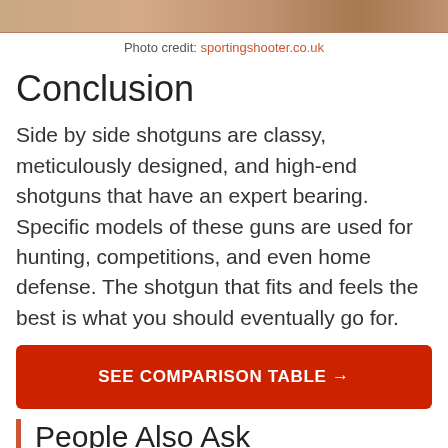[Figure (photo): Top portion of a photo showing what appears to be shotgun barrels, partially cropped at the top of the page.]
Photo credit: sportingshooter.co.uk
Conclusion
Side by side shotguns are classy, meticulously designed, and high-end shotguns that have an expert bearing. Specific models of these guns are used for hunting, competitions, and even home defense. The shotgun that fits and feels the best is what you should eventually go for.
SEE COMPARISON TABLE →
People Also Ask
Here's some common questions asked